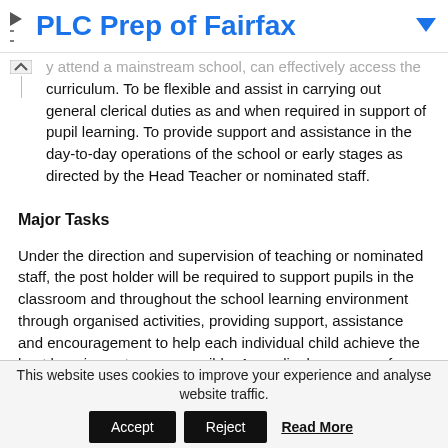PLC Prep of Fairfax
attend a mainstream school, can effectively access the curriculum. To be flexible and assist in carrying out general clerical duties as and when required in support of pupil learning. To provide support and assistance in the day-to-day operations of the school or early stages as directed by the Head Teacher or nominated staff.
Major Tasks
Under the direction and supervision of teaching or nominated staff, the post holder will be required to support pupils in the classroom and throughout the school learning environment through organised activities, providing support, assistance and encouragement to help each individual child achieve the best learning outcomes possible. Accordingly, a range of tasks may be
This website uses cookies to improve your experience and analyse website traffic.